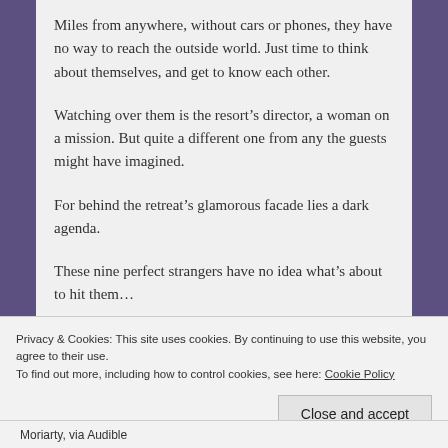Miles from anywhere, without cars or phones, they have no way to reach the outside world. Just time to think about themselves, and get to know each other.
Watching over them is the resort's director, a woman on a mission. But quite a different one from any the guests might have imagined.
For behind the retreat's glamorous facade lies a dark agenda.
These nine perfect strangers have no idea what's about to hit them…
Privacy & Cookies: This site uses cookies. By continuing to use this website, you agree to their use.
To find out more, including how to control cookies, see here: Cookie Policy
Close and accept
Moriarty, via Audible